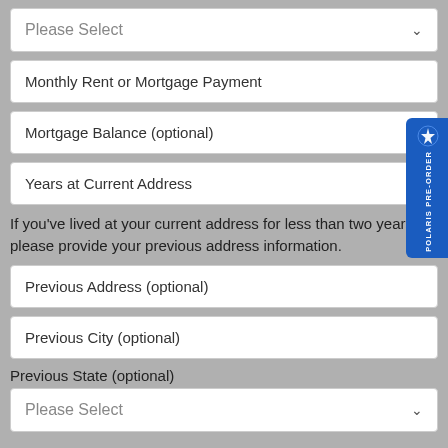Please Select
Monthly Rent or Mortgage Payment
Mortgage Balance (optional)
Years at Current Address
If you've lived at your current address for less than two years, please provide your previous address information.
Previous Address (optional)
Previous City (optional)
Previous State (optional)
Please Select
[Figure (logo): Polaris Pre-Order vertical tab/badge in blue with Polaris logo and text on the right side of the page]